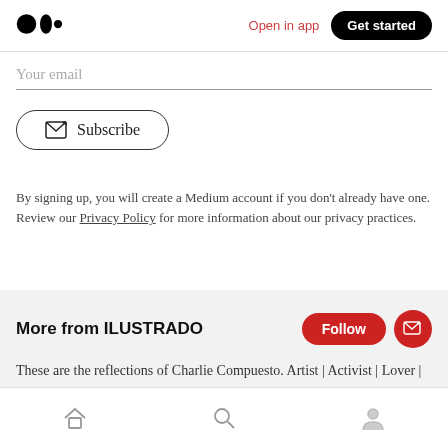Medium logo | Open in app | Get started
Your email
[Figure (other): Subscribe button with envelope icon]
By signing up, you will create a Medium account if you don't already have one. Review our Privacy Policy for more information about our privacy practices.
More from ILUSTRADO
These are the reflections of Charlie Compuesto. Artist | Activist | Lover | Follow Sex and Calamity on Youtube!
Home | Search | Profile